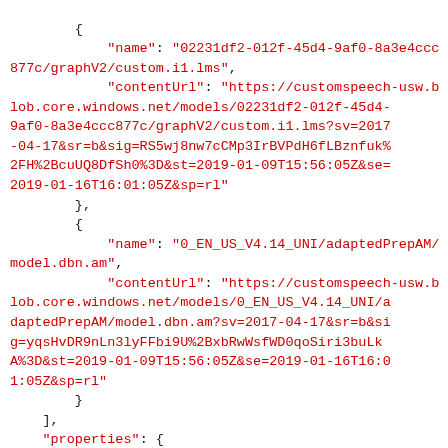JSON code block showing model configuration with name, contentUrl, and properties fields